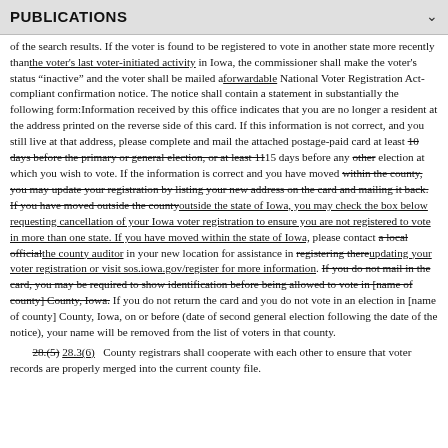PUBLICATIONS
of the search results. If the voter is found to be registered to vote in another state more recently than the voter's last voter-initiated activity in Iowa, the commissioner shall make the voter's status "inactive" and the voter shall be mailed a forwardable National Voter Registration Act-compliant confirmation notice. The notice shall contain a statement in substantially the following form: Information received by this office indicates that you are no longer a resident at the address printed on the reverse side of this card. If this information is not correct, and you still live at that address, please complete and mail the attached postage-paid card at least 10 days before the primary or general election, or at least 11 15 days before any other election at which you wish to vote. If the information is correct and you have moved within the county, you may update your registration by listing your new address on the card and mailing it back. If you have moved outside the county outside the state of Iowa, you may check the box below requesting cancellation of your Iowa voter registration to ensure you are not registered to vote in more than one state. If you have moved within the state of Iowa, please contact a local official the county auditor in your new location for assistance in registering there updating your voter registration or visit sos.iowa.gov/register for more information. If you do not mail in the card, you may be required to show identification before being allowed to vote in [name of county] County, Iowa. If you do not return the card and you do not vote in an election in [name of county] County, Iowa, on or before (date of second general election following the date of the notice), your name will be removed from the list of voters in that county.
28.(5) 28.3(6)   County registrars shall cooperate with each other to ensure that voter records are properly merged into the current county file.